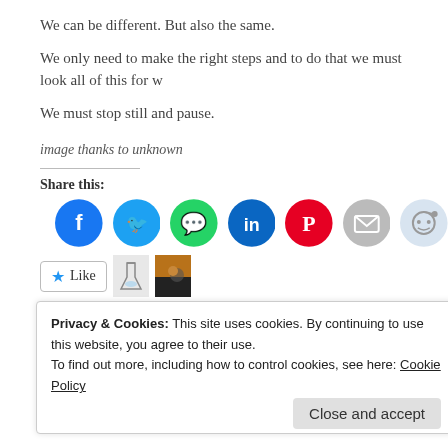We can be different. But also the same.
We only need to make the right steps and to do that we must look all of this for w
We must stop still and pause.
image thanks to unknown
Share this:
[Figure (other): Social share buttons: Facebook, Twitter, WhatsApp, LinkedIn, Pinterest, Email, Reddit, and partial blue button]
[Figure (other): Like button with star icon, two blogger avatars]
2 bloggers like this.
Ethics, National Politics, Principles, Young People
Privacy & Cookies: This site uses cookies. By continuing to use this website, you agree to their use. To find out more, including how to control cookies, see here: Cookie Policy
Close and accept